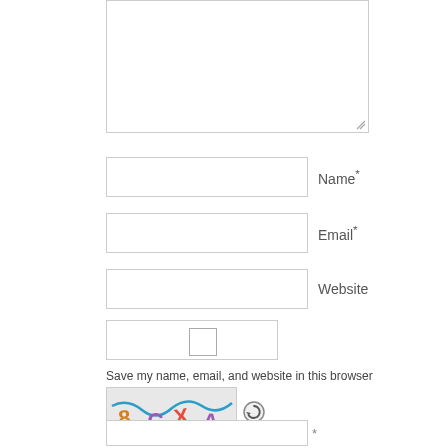[Figure (screenshot): A textarea input box (comment field) — large white box with resize handle at bottom-right corner]
Name *
Email *
Website
Save my name, email, and website in this browser
[Figure (screenshot): CAPTCHA image showing colorful handwritten letters '8 CXA' on a textured background, with a refresh/reload icon to the right]
*